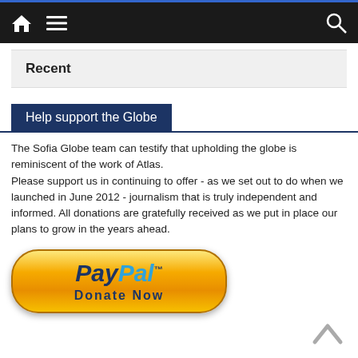Navigation bar with home, menu, and search icons
Recent
Help support the Globe
The Sofia Globe team can testify that upholding the globe is reminiscent of the work of Atlas.
Please support us in continuing to offer - as we set out to do when we launched in June 2012 - journalism that is truly independent and informed.
All donations are gratefully received as we put in place our plans to grow in the years ahead.
[Figure (other): PayPal Donate Now button - gold/orange rounded rectangle with PayPal logo and Donate Now text]